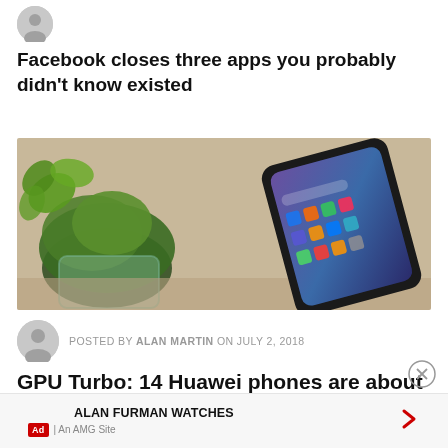[Figure (illustration): Small circular avatar icon (person silhouette) in grey]
Facebook closes three apps you probably didn't know existed
[Figure (photo): Photo of a Huawei smartphone lying on a wooden table next to a glass terrarium with green moss and plants. The phone screen shows app icons.]
POSTED BY ALAN MARTIN ON JULY 2, 2018
GPU Turbo: 14 Huawei phones are about to get a big speed boost
Ad | An AMG Site
ALAN FURMAN WATCHES